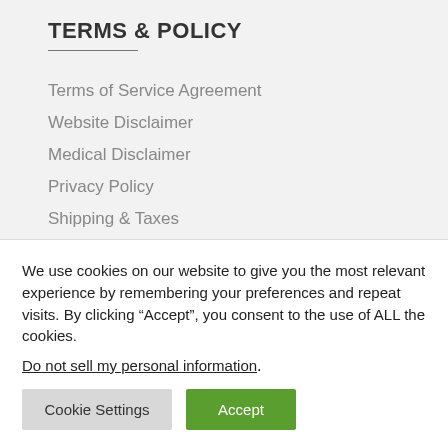TERMS & POLICY
Terms of Service Agreement
Website Disclaimer
Medical Disclaimer
Privacy Policy
Shipping & Taxes
Return and Refund Policy
Contact Us
LIKE & SHARE
We use cookies on our website to give you the most relevant experience by remembering your preferences and repeat visits. By clicking “Accept”, you consent to the use of ALL the cookies. Do not sell my personal information.